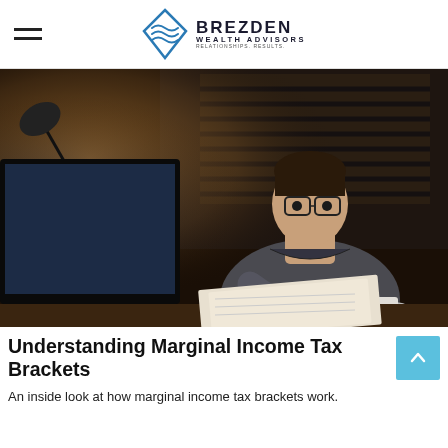BREZDEN WEALTH ADVISORS — RELATIONSHIPS. RESULTS.
[Figure (photo): Young man with glasses sitting at a desk at night, working on a computer, writing notes and holding a coffee cup, illuminated by screen glow]
Understanding Marginal Income Tax Brackets
An inside look at how marginal income tax brackets work.